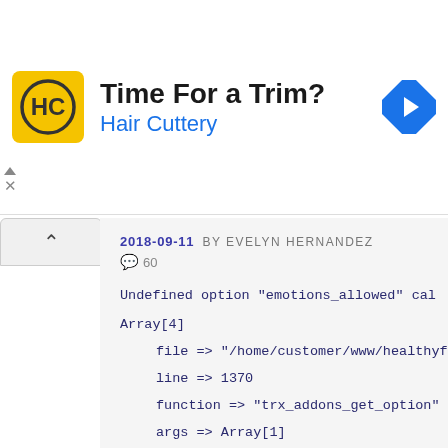[Figure (other): Hair Cuttery advertisement banner with logo, headline 'Time For a Trim?' and subline 'Hair Cuttery', with a blue arrow icon on the right.]
2018-09-11 BY EVELYN HERNANDEZ
💬 60
Undefined option "emotions_allowed" cal
Array[4]
    file => "/home/customer/www/healthyf
    line => 1370
    function => "trx_addons_get_option"
    args => Array[1]
        0 => "emotions_allowed"